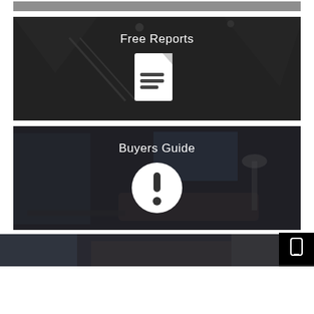[Figure (screenshot): Top thin bordered box with dark overlay, partial staircase/interior background]
Free Reports
[Figure (illustration): White document/file icon with lines representing a report]
Buyers Guide
[Figure (illustration): White circle with exclamation mark icon representing buyers guide info]
[Figure (screenshot): Contact sidebar with mobile phone icon, phone/call icon, and @ email icon on black background]